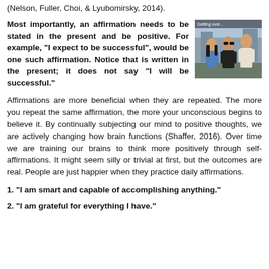(Nelson, Fuller, Choi, & Lyubomirsky, 2014).
[Figure (photo): Photo of three young people standing together outdoors, with a caption overlay 'Getting over...']
Most importantly, an affirmation needs to be stated in the present and be positive. For example, "I expect to be successful", would be one such affirmation. Notice that is written in the present; it does not say "I will be successful."
Affirmations are more beneficial when they are repeated. The more you repeat the same affirmation, the more your unconscious begins to believe it. By continually subjecting our mind to positive thoughts, we are actively changing how brain functions (Shaffer, 2016). Over time we are training our brains to think more positively through self-affirmations. It might seem silly or trivial at first, but the outcomes are real. People are just happier when they practice daily affirmations.
1. "I am smart and capable of accomplishing anything."
2. "I am grateful for everything I have."